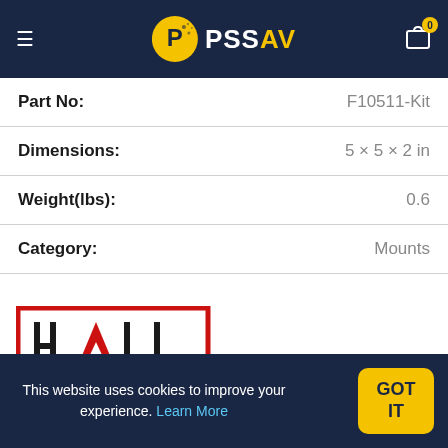PSS AV
| Field | Value |
| --- | --- |
| Part No: | F10511-Kit |
| Dimensions: | 5 × 5 × 2 in |
| Weight(lbs): | 0.6 |
| Category: | Mounts |
[Figure (logo): Hall Technologies logo — red rectangle border with HALL in bold, A styled as triangle, TECHNOLOGIES in spaced caps below]
Share: f  [Twitter bird]  [Pinterest Save]  in
This website uses cookies to improve your experience. Learn More  GOT IT